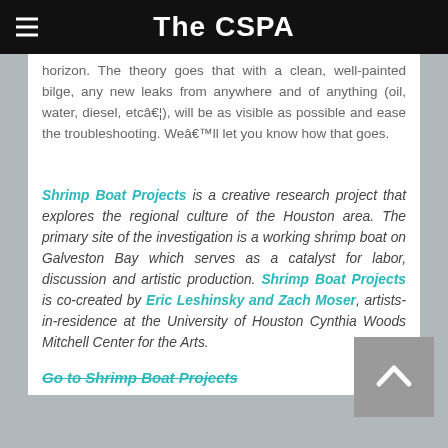The CSPA
horizon. The theory goes that with a clean, well-painted bilge, any new leaks from anywhere and of anything (oil, water, diesel, etcâ€¦), will be as visible as possible and ease the troubleshooting. Weâ€™ll let you know how that goes.
Shrimp Boat Projects is a creative research project that explores the regional culture of the Houston area. The primary site of the investigation is a working shrimp boat on Galveston Bay which serves as a catalyst for labor, discussion and artistic production. Shrimp Boat Projects is co-created by Eric Leshinsky and Zach Moser, artists-in-residence at the University of Houston Cynthia Woods Mitchell Center for the Arts.
Go to Shrimp Boat Projects